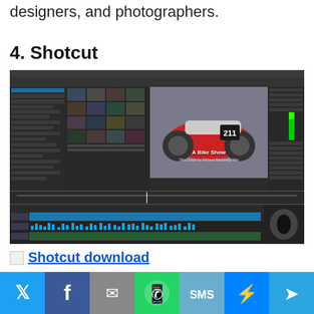designers, and photographers.
4. Shotcut
[Figure (screenshot): Shotcut video editor screenshot showing timeline, media grid, and preview window with a motorcycle labeled '211' and text 'A Bike Show / This Ducati by Michael Woolaway War']
Shotcut download
[Figure (infographic): Social media sharing buttons row: Twitter, Facebook, Email, WhatsApp, SMS, Messenger, Telegram]